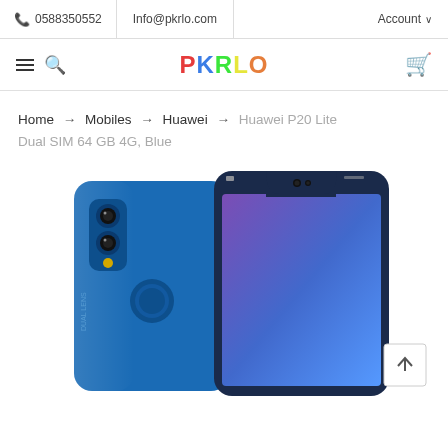📞 0588350552 | Info@pkrlo.com | Account
[Figure (logo): PKRLO colorful logo with hamburger menu, search icon, and cart icon in navigation bar]
Home → Mobiles → Huawei → Huawei P20 Lite Dual SIM 64 GB 4G, Blue
[Figure (photo): Huawei P20 Lite smartphone in blue color shown from back and front, dual camera, fingerprint sensor, notch display]